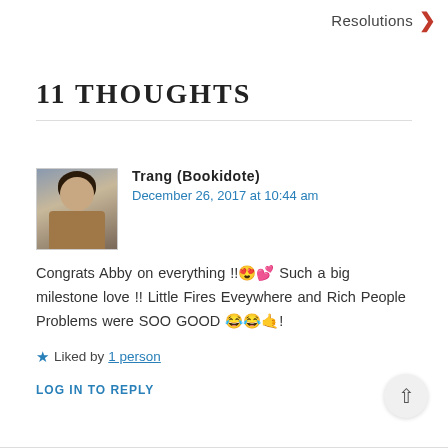Resolutions ❯
11 THOUGHTS
[Figure (photo): Avatar photo of Trang (Bookidote), a young woman with long dark hair wearing a brown jacket]
Trang (Bookidote)
December 26, 2017 at 10:44 am
Congrats Abby on everything !!😍💕 Such a big milestone love !! Little Fires Eveywhere and Rich People Problems were SOO GOOD 😂😂🤙!
★ Liked by 1 person
LOG IN TO REPLY